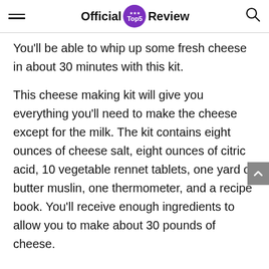Official Top5 Review
You'll be able to whip up some fresh cheese in about 30 minutes with this kit.
This cheese making kit will give you everything you'll need to make the cheese except for the milk. The kit contains eight ounces of cheese salt, eight ounces of citric acid, 10 vegetable rennet tablets, one yard of butter muslin, one thermometer, and a recipe book. You'll receive enough ingredients to allow you to make about 30 pounds of cheese.